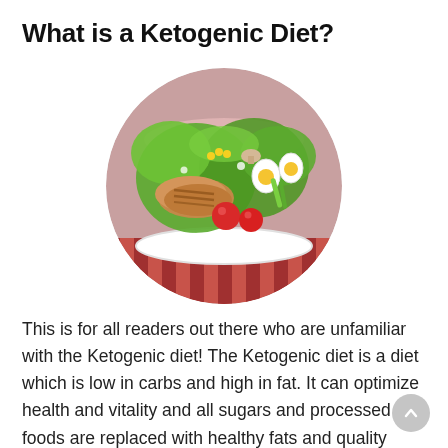What is a Ketogenic Diet?
[Figure (photo): A circular photo of a bowl of ketogenic salad with grilled chicken, cherry tomatoes, boiled eggs, lettuce, corn, mushrooms, and other fresh vegetables arranged on a red checkered tablecloth.]
This is for all readers out there who are unfamiliar with the Ketogenic diet! The Ketogenic diet is a diet which is low in carbs and high in fat. It can optimize health and vitality and all sugars and processed foods are replaced with healthy fats and quality proteins. In a Ketogenic diet, rather than depending on carbs for energy, stored